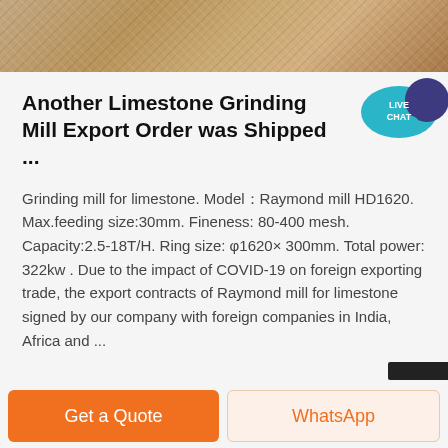[Figure (photo): Close-up photo of limestone rock texture, brownish-beige rocky surface]
Another Limestone Grinding Mill Export Order was Shipped ...
Grinding mill for limestone. Model：Raymond mill HD1620. Max.feeding size:30mm. Fineness: 80-400 mesh. Capacity:2.5-18T/H. Ring size: φ1620× 300mm. Total power: 322kw . Due to the impact of COVID-19 on foreign exporting trade, the export contracts of Raymond mill for limestone signed by our company with foreign companies in India, Africa and ...